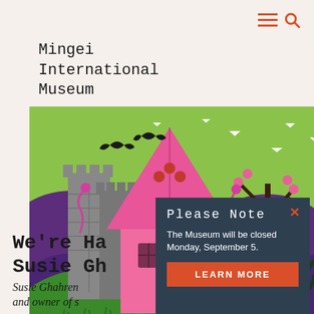≡ 🔍
Mingei
International
Museum
[Figure (illustration): Colorful illustrated scene with a pink pointed house/tent, stone castle towers, green hills with daisies, purple mountains, bare tree with pink flowers, bats flying, and sparkle/star motifs on a lime-green sky background.]
We're Ha
Susie Gh
Susie Ghahren
and owner of s
Please Note
The Museum will be closed Monday, September 5.
LEARN MORE